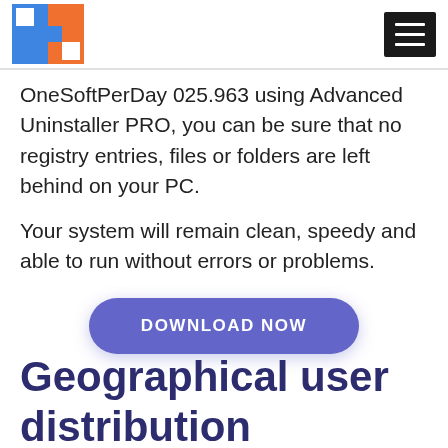[Logo: OneSoftPerDay] [Hamburger menu]
OneSoftPerDay 025.963 using Advanced Uninstaller PRO, you can be sure that no registry entries, files or folders are left behind on your PC.
Your system will remain clean, speedy and able to run without errors or problems.
[Figure (other): DOWNLOAD NOW button — blue-purple rounded pill button with white uppercase text]
Geographical user distribution